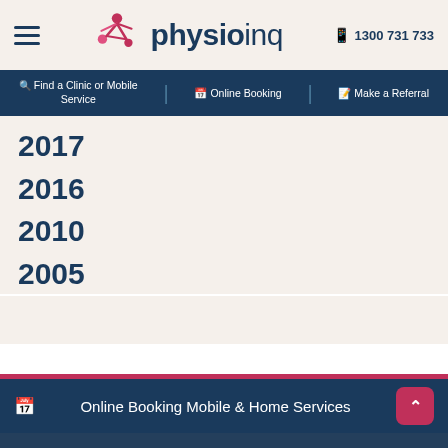[Figure (logo): Physio Inq logo with stylized figure icon in red/pink and dark navy text, plus phone number 1300 731 733]
Find a Clinic or Mobile Service | Online Booking | Make a Referral
2017
2016
2010
2005
Online Booking Mobile & Home Services
Make A Referral